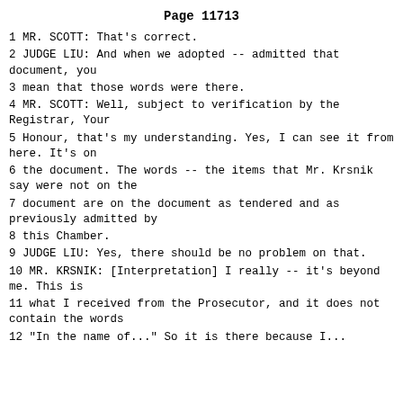Page 11713
1 MR. SCOTT: That's correct.
2 JUDGE LIU: And when we adopted -- admitted that document, you
3 mean that those words were there.
4 MR. SCOTT: Well, subject to verification by the Registrar, Your
5 Honour, that's my understanding. Yes, I can see it from here. It's on
6 the document. The words -- the items that Mr. Krsnik say were not on the
7 document are on the document as tendered and as previously admitted by
8 this Chamber.
9 JUDGE LIU: Yes, there should be no problem on that.
10 MR. KRSNIK: [Interpretation] I really -- it's beyond me. This is
11 what I received from the Prosecutor, and it does not contain the words
12 "In the name of..." So it is there because I...